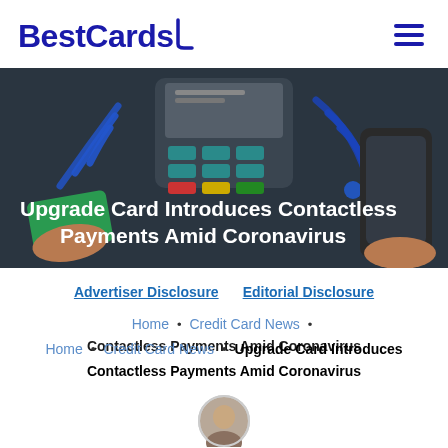BestCards
[Figure (illustration): Hero image showing contactless payment technology: a POS terminal with NFC/WiFi signal icons in blue, a green card being tapped, and a smartphone held by a hand, on a dark background. Overlaid white bold text reads: Upgrade Card Introduces Contactless Payments Amid Coronavirus]
Upgrade Card Introduces Contactless Payments Amid Coronavirus
Advertiser Disclosure   Editorial Disclosure
Home • Credit Card News • Upgrade Card Introduces Contactless Payments Amid Coronavirus
[Figure (photo): Partial circular author avatar photo at the bottom center of the page]